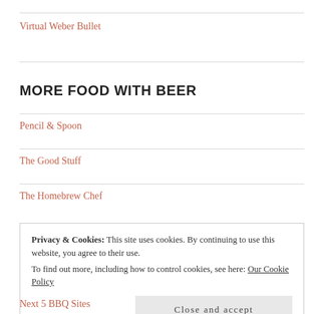Virtual Weber Bullet
MORE FOOD WITH BEER
Pencil & Spoon
The Good Stuff
The Homebrew Chef
Privacy & Cookies: This site uses cookies. By continuing to use this website, you agree to their use. To find out more, including how to control cookies, see here: Our Cookie Policy
Close and accept
Next 5 BBQ Sites